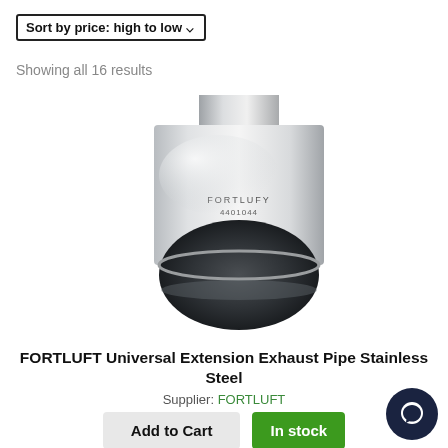Sort by price: high to low ▾
Showing all 16 results
[Figure (photo): A stainless steel exhaust pipe tip (FORTLUFT 4401044) photographed from a front-angle showing the circular opening and branded stamp on the outer barrel.]
FORTLUFT Universal Extension Exhaust Pipe Stainless Steel
Supplier: FORTLUFT
Add to Cart
In stock